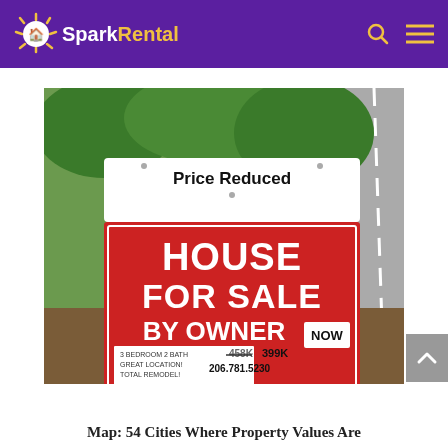SparkRental
[Figure (photo): A real estate yard sign reading 'Price Reduced HOUSE FOR SALE BY OWNER NOW' with details '3 BEDROOM 2 BATH GREAT LOCATION! TOTAL REMODEL! 458K 399K 206.781.5230', set outdoors with green trees and a road in the background.]
Map: 54 Cities Where Property Values Are